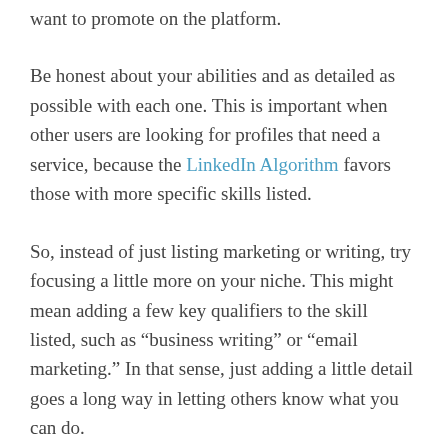want to promote on the platform.
Be honest about your abilities and as detailed as possible with each one. This is important when other users are looking for profiles that need a service, because the LinkedIn Algorithm favors those with more specific skills listed.
So, instead of just listing marketing or writing, try focusing a little more on your niche. This might mean adding a few key qualifiers to the skill listed, such as “business writing” or “email marketing.” In that sense, just adding a little detail goes a long way in letting others know what you can do.
Once you’ve listed and displayed your skills, it’s time to get the most relevant ones bolstered by approval. Having another user vouch for your abilities adds legitimacy to your claims, and the best way to get this kind of help quickly is to provide it to others first. Endorse the highest